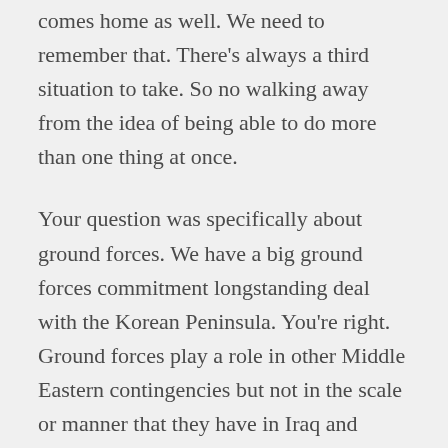comes home as well. We need to remember that. There's always a third situation to take. So no walking away from the idea of being able to do more than one thing at once.
Your question was specifically about ground forces. We have a big ground forces commitment longstanding deal with the Korean Peninsula. You're right. Ground forces play a role in other Middle Eastern contingencies but not in the scale or manner that they have in Iraq and Afghanistan.
I mean, look around that region, look at Africa, and you -- in no case is there something that -- like the Korean Peninsula campaign which has been